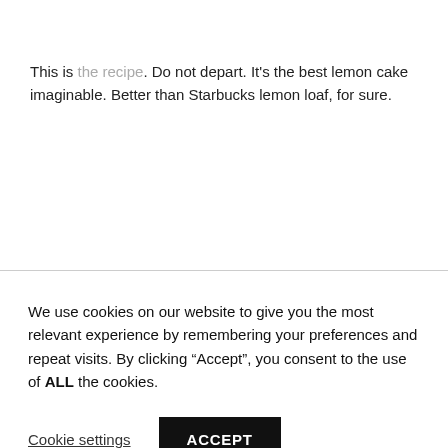This is the recipe. Do not depart. It's the best lemon cake imaginable. Better than Starbucks lemon loaf, for sure.
We use cookies on our website to give you the most relevant experience by remembering your preferences and repeat visits. By clicking “Accept”, you consent to the use of ALL the cookies.
Cookie settings
ACCEPT